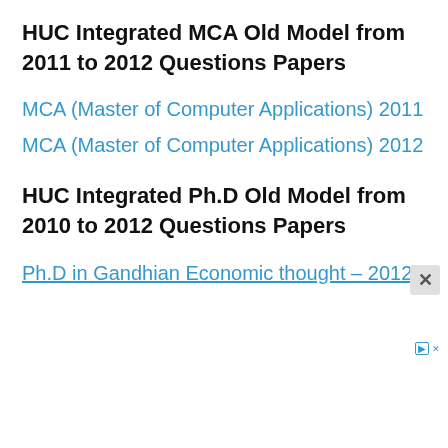HUC Integrated MCA Old Model from 2011 to 2012 Questions Papers
MCA (Master of Computer Applications) 2011
MCA (Master of Computer Applications) 2012
HUC Integrated Ph.D Old Model from 2010 to 2012 Questions Papers
Ph.D in Gandhian Economic thought – 2012
[Figure (other): Advertisement banner for Lancaster Bible College Early Childhood Education program with 'Learn More' button]
Study Early Childhood Ed
Our Students Graduate Ready and Prepared to Become Generalist Elementary Teachers Lancaster Bible College